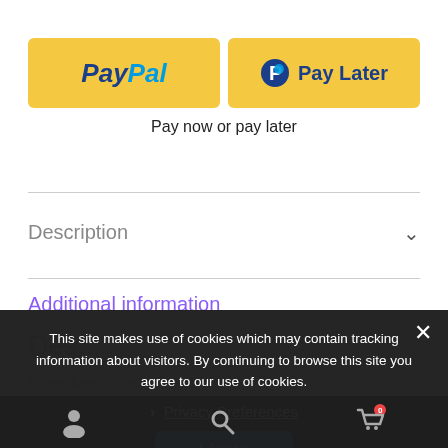[Figure (screenshot): PayPal payment button (yellow, with PayPal logo in blue italic bold text)]
[Figure (screenshot): Pay Later button (yellow, with PayPal P icon and 'Pay Later' text in blue)]
Pay now or pay later
Description
Additional information
This site makes use of cookies which may contain tracking information about visitors. By continuing to browse this site you agree to our use of cookies.
Privacy Preferences
I Agree